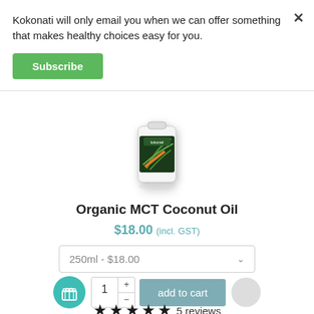Kokonati will only email you when we can offer something that makes healthy choices easy for you.
Subscribe
[Figure (photo): Kokonati Organic MCT Coconut Oil product bottle/package]
Organic MCT Coconut Oil
$18.00 (incl. GST)
250ml - $18.00
1
add to cart
5 reviews